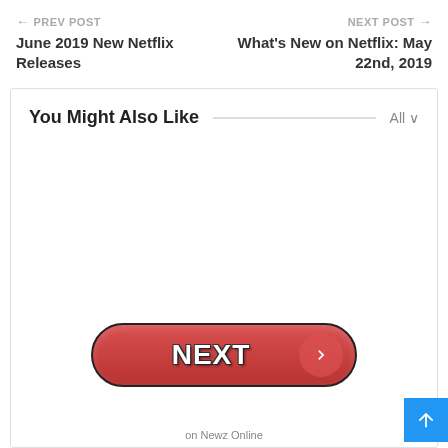← PREV POST | June 2019 New Netflix Releases
NEXT POST → | What's New on Netflix: May 22nd, 2019
You Might Also Like
[Figure (screenshot): A red pill-shaped NEXT button with white bold text 'NEXT' and a circular arrow icon on the right side]
on Newz Online